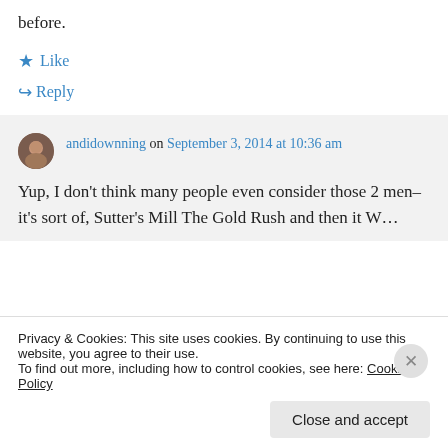before.
★ Like
↪ Reply
andidownning on September 3, 2014 at 10:36 am
Yup, I don't think many people even consider those 2 men–it's sort of, Sutter's Mill The Gold Rush and then it…
Privacy & Cookies: This site uses cookies. By continuing to use this website, you agree to their use.
To find out more, including how to control cookies, see here: Cookie Policy
Close and accept